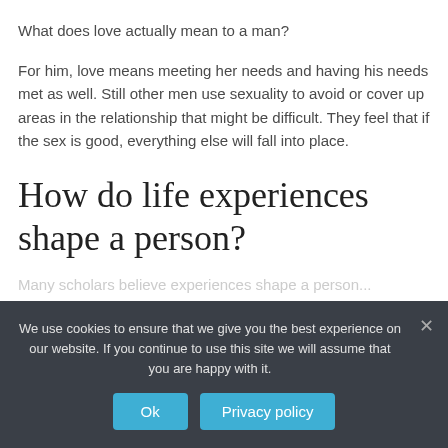What does love actually mean to a man?
For him, love means meeting her needs and having his needs met as well. Still other men use sexuality to avoid or cover up areas in the relationship that might be difficult. They feel that if the sex is good, everything else will fall into place.
How do life experiences shape a person?
Many scholars believe experiences shape a person...
We use cookies to ensure that we give you the best experience on our website. If you continue to use this site we will assume that you are happy with it.